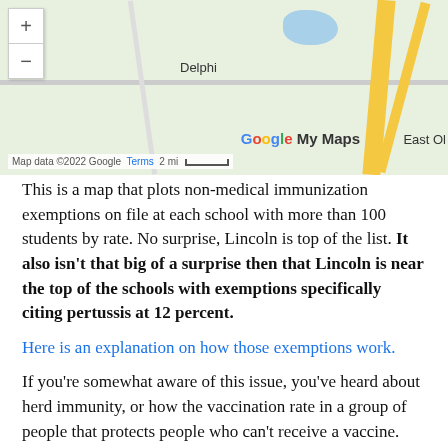[Figure (map): Google My Maps screenshot showing a map with Delphi label, zoom controls (+/-), roads, water body, and map attribution footer. Caption reads 'Map data ©2022 Google  Terms  2 mi' with scale bar.]
This is a map that plots non-medical immunization exemptions on file at each school with more than 100 students by rate. No surprise, Lincoln is top of the list. It also isn't that big of a surprise then that Lincoln is near the top of the schools with exemptions specifically citing pertussis at 12 percent.
Here is an explanation on how those exemptions work.
If you're somewhat aware of this issue, you've heard about herd immunity, or how the vaccination rate in a group of people that protects people who can't receive a vaccine. This is why a 12 percent exemption rate at Lincoln is sort of scary.
According to the CDC, an immunization rate of 94 percent is necessary to prevent pertussis from persisting in a community. That is above the 88 percent that the exemption rate at Lincoln would